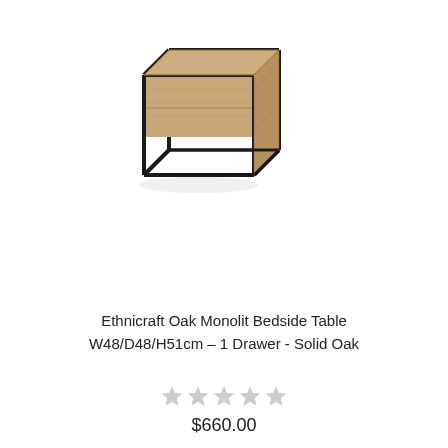[Figure (photo): Ethnicraft Oak Monolit Bedside Table with black metal frame and oak wood drawer, photographed on white background]
Ethnicraft Oak Monolit Bedside Table W48/D48/H51cm – 1 Drawer - Solid Oak
[Figure (other): Five empty star rating icons in grey]
$660.00